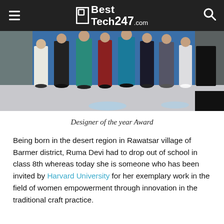BestTech247.com
[Figure (photo): Fashion show stage photo showing people in colorful traditional and modern attire standing on a white runway with stage lights visible on the floor]
Designer of the year Award
Being born in the desert region in Rawatsar village of Barmer district, Ruma Devi had to drop out of school in class 8th whereas today she is someone who has been invited by Harvard University for her exemplary work in the field of women empowerment through innovation in the traditional craft practice.